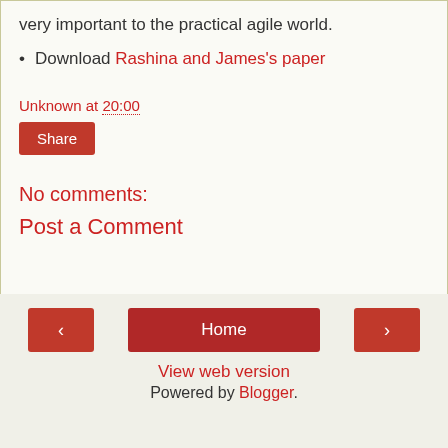very important to the practical agile world.
Download Rashina and James's paper
Unknown at 20:00
Share
No comments:
Post a Comment
< Home > View web version Powered by Blogger.